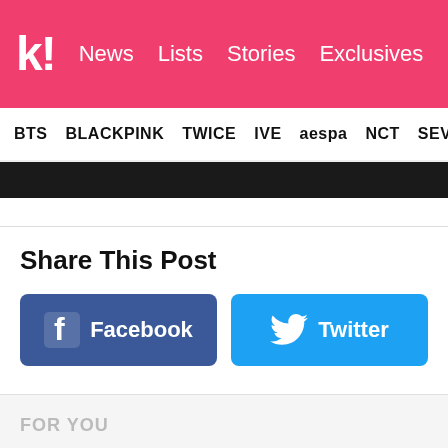k! News Lists Stories Exclusives
BTS BLACKPINK TWICE IVE aespa NCT SEVE
Share This Post
[Figure (screenshot): Facebook share button (blue, with Facebook 'f' icon) and Twitter share button (sky blue, with Twitter bird icon)]
FOR YOU
20+ Moments From BTS Jungkook's 25th Birthday Live